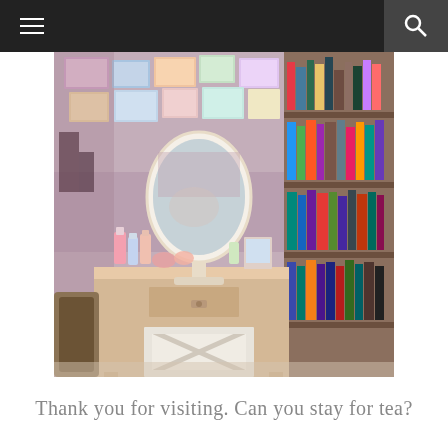Navigation header with hamburger menu and search icon
[Figure (photo): A white wooden vanity dressing table with an oval mirror, various beauty products and perfume bottles arranged on top, a white cross-back chair in front, and a bookshelf visible in the background filled with books and decorative items. The room has a cozy, feminine aesthetic with pink/purple tones.]
Thank you for visiting. Can you stay for tea?